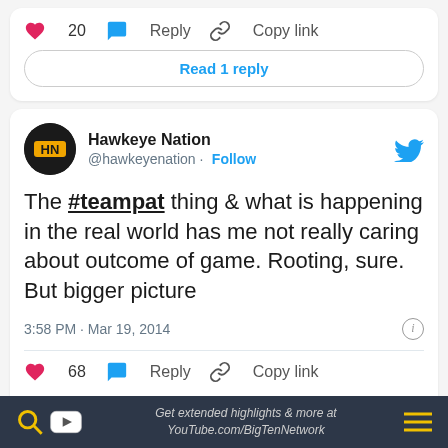[Figure (screenshot): Top partial tweet card showing 20 likes, Reply, Copy link actions, and Read 1 reply button]
[Figure (screenshot): Tweet by Hawkeye Nation (@hawkeyenation) with Follow button and Twitter bird icon. Tweet text: The #teampat thing & what is happening in the real world has me not really caring about outcome of game. Rooting, sure. But bigger picture. Timestamp: 3:58 PM · Mar 19, 2014. 68 likes, Reply, Copy link, Read 5 replies button.]
Get extended highlights & more at YouTube.com/BigTenNetwork